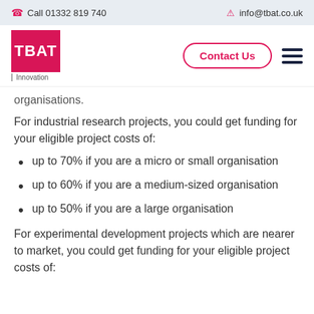Call 01332 819 740   info@tbat.co.uk
[Figure (logo): TBAT Innovation logo - red square with white TBAT text, Innovation subtitle]
organisations.
For industrial research projects, you could get funding for your eligible project costs of:
up to 70% if you are a micro or small organisation
up to 60% if you are a medium-sized organisation
up to 50% if you are a large organisation
For experimental development projects which are nearer to market, you could get funding for your eligible project costs of: